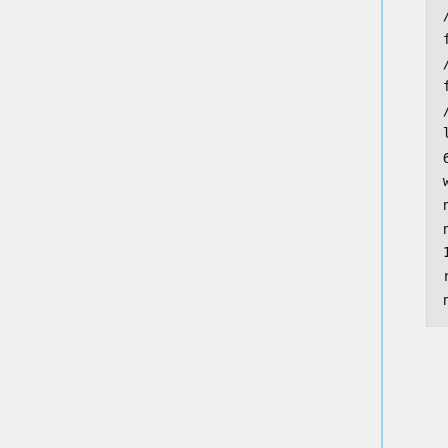/gpfs/projects/AMS536/zzz.prog
flex_defn_file
/gpfs/projects/AMS536/zzz.prog
flex_drive_file
/gpfs/projects/AMS536/zzz.prog
ligand_outfile_prefix
6ME2.virtual_screen.min
write_orientations
no
num_scored_conformers
1
rank_ligands
no
Once you finish save and exit that file and then we can start to write the submit file. Vi into cartmin.sh and write the following to that file:
#!/bin/bash
#SBATCH --time=48:00:00
#SBATCH --nodes=1
#SBATCH --ntasks=28